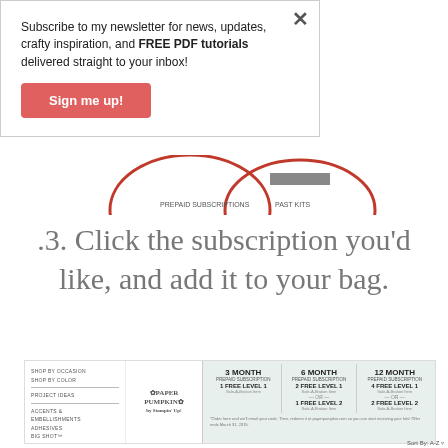Subscribe to my newsletter for news, updates, crafty inspiration, and FREE PDF tutorials delivered straight to your inbox!
Sign me up!
[Figure (other): Partial view of a pie or donut chart showing segments labeled PREPAID SUBSCRIPTIONS and PAST KITS]
.3. Click the subscription you'd like, and add it to your bag.
[Figure (screenshot): Screenshot of a subscription page showing 3 MONTH, 6 MONTH, and 12 MONTH prepaid subscription options with Paper Pumpkin logo and navigation menu on left]